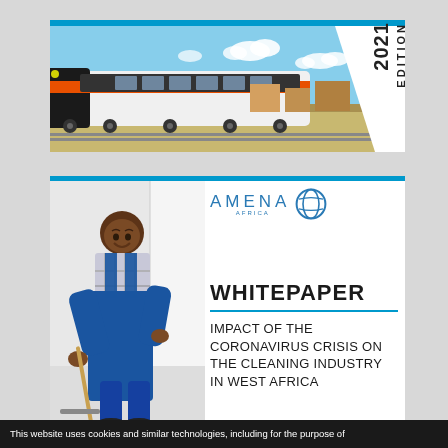[Figure (photo): Cover image of a modern train against a blue sky, with 2021 EDITION text in the upper right corner]
[Figure (photo): Cover of AMENA Africa whitepaper showing a man in blue overalls cleaning a floor with a mop, alongside AMENA Africa logo, WHITEPAPER heading, and title: IMPACT OF THE CORONAVIRUS CRISIS ON THE CLEANING INDUSTRY IN WEST AFRICA]
WHITEPAPER
IMPACT OF THE CORONAVIRUS CRISIS ON THE CLEANING INDUSTRY IN WEST AFRICA
This website uses cookies and similar technologies, including for the purpose of